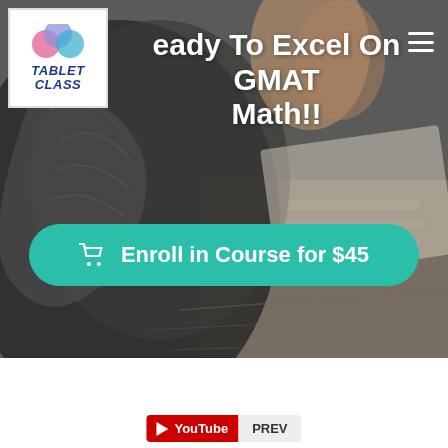[Figure (screenshot): Hero banner showing a hand writing on paper, with TabletClass logo in top-left, title text 'Ready To Excel On GMAT Math!!' overlaid in white, hamburger menu icon top-right, and a teal 'Enroll in Course for $45' button centered near bottom.]
Ready To Excel On GMAT Math!!
Enroll in Course for $45
[Figure (logo): YouTube red play button logo with text 'PREV']